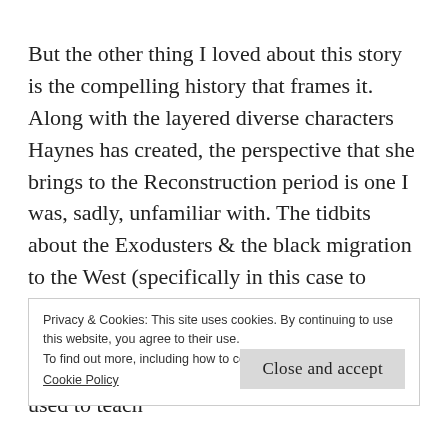But the other thing I loved about this story is the compelling history that frames it. Along with the layered diverse characters Haynes has created, the perspective that she brings to the Reconstruction period is one I was, sadly, unfamiliar with. The tidbits about the Exodusters & the black migration to the West (specifically in this case to Kansas) is something that was never covered in my American history classes in school, nor in the citizenship materials I used to teach
Privacy & Cookies: This site uses cookies. By continuing to use this website, you agree to their use.
To find out more, including how to control cookies, see here:
Cookie Policy
Close and accept